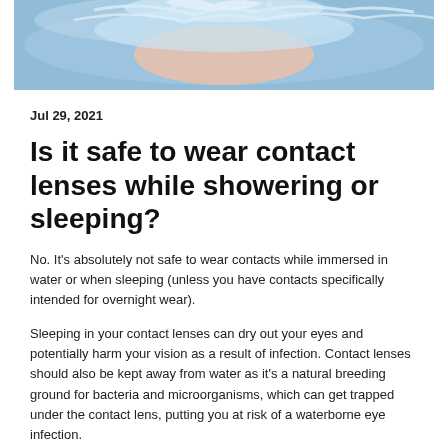[Figure (photo): Person swimming in water with a splash, viewed from above, skin and blue water visible]
Jul 29, 2021
Is it safe to wear contact lenses while showering or sleeping?
No. It's absolutely not safe to wear contacts while immersed in water or when sleeping (unless you have contacts specifically intended for overnight wear).
Sleeping in your contact lenses can dry out your eyes and potentially harm your vision as a result of infection. Contact lenses should also be kept away from water as it's a natural breeding ground for bacteria and microorganisms, which can get trapped under the contact lens, putting you at risk of a waterborne eye infection.
Why Does Sleeping in Contacts